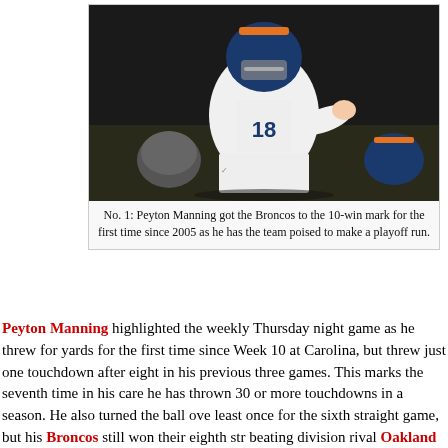[Figure (photo): Peyton Manning in Denver Broncos jersey number 18 at the line of scrimmage, pointing and calling plays, with opposing and teammate players visible.]
No. 1: Peyton Manning got the Broncos to the 10-win mark for the first time since 2005 as he has the team poised to make a playoff run.
Peyton Manning highlighted the weekly Thursday night game as he threw for yards for the first time since Week 10 at Carolina, but threw just one touchdown after eight in his previous three games. This marks the seventh time in his career he has thrown 30 or more touchdowns in a season. He also turned the ball over at least once for the sixth straight game, but his Broncos still won their eighth straight, beating division rival Oakland 26-13 on Thursday night to improve to 10-3 on the year. The eight-game win streak is the longest for the Broncos since 1997-98 and with the 10th win of the year, they have hit double-digits in wins for the first time since 2005. The Denver D picked off at least one pass for the ninth straight game. Denver...